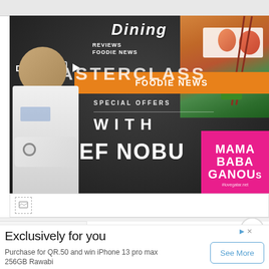[Figure (screenshot): Website screenshot showing a dining section with a hero image featuring Chef Nobu Masterclass. Dark background with text overlays: 'Dining', 'REVIEWS', 'FOODIE NEWS' navigation items, an orange FOODIE NEWS banner, 'SPECIAL OFFERS' text, 'MASTERCLASS WITH CHEF NOBU' in large white text. Chef in white coat on left. Sushi on top right. Pink MAMA BABA GANOUSE card on bottom right.]
DINING
REVIEWS
FOODIE NEWS
FOODIE NEWS
SPECIAL OFFERS
MASTERCLASS
WITH
CHEF NOBU
MAMA
BABA
GANOUSE
Exclusively for you
Purchase for QR.50 and win iPhone 13 pro max 256GB Rawabi
See More